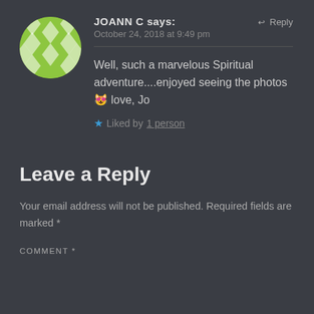[Figure (illustration): Circular avatar with green diamond/star pattern on dark background for user JOANN C]
JOANN C says:
October 24, 2018 at 9:49 pm

Well, such a marvelous Spiritual adventure....enjoyed seeing the photos 😻 love, Jo

★ Liked by 1 person
Leave a Reply
Your email address will not be published. Required fields are marked *
COMMENT *